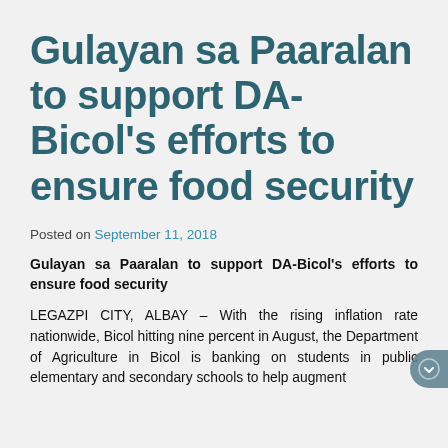Gulayan sa Paaralan to support DA-Bicol’s efforts to ensure food security
Posted on September 11, 2018
Gulayan sa Paaralan to support DA-Bicol’s efforts to ensure food security
LEGAZPI CITY, ALBAY – With the rising inflation rate nationwide, Bicol hitting nine percent in August, the Department of Agriculture in Bicol is banking on students in public elementary and secondary schools to help augment